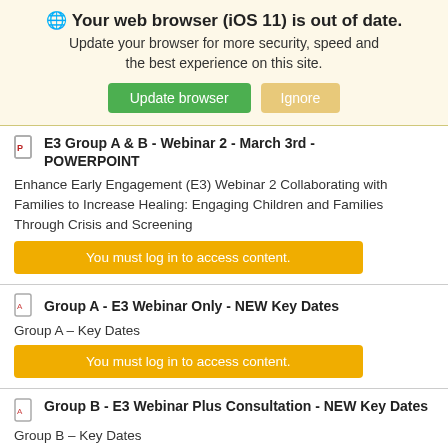🌐 Your web browser (iOS 11) is out of date. Update your browser for more security, speed and the best experience on this site.
Update browser | Ignore
E3 Group A & B - Webinar 2 - March 3rd - POWERPOINT
Enhance Early Engagement (E3) Webinar 2 Collaborating with Families to Increase Healing: Engaging Children and Families Through Crisis and Screening
You must log in to access content.
Group A - E3 Webinar Only - NEW Key Dates
Group A – Key Dates
You must log in to access content.
Group B - E3 Webinar Plus Consultation - NEW Key Dates
Group B – Key Dates
You must log in to access content.